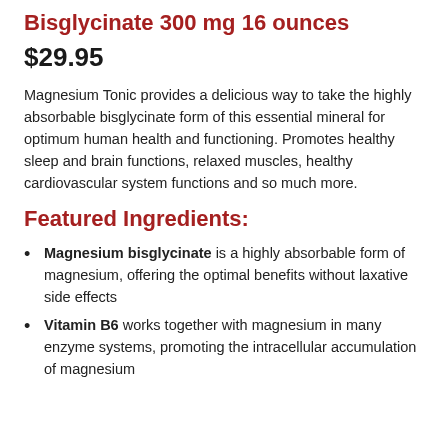Bisglycinate 300 mg 16 ounces
$29.95
Magnesium Tonic provides a delicious way to take the highly absorbable bisglycinate form of this essential mineral for optimum human health and functioning. Promotes healthy sleep and brain functions, relaxed muscles, healthy cardiovascular system functions and so much more.
Featured Ingredients:
Magnesium bisglycinate is a highly absorbable form of magnesium, offering the optimal benefits without laxative side effects
Vitamin B6 works together with magnesium in many enzyme systems, promoting the intracellular accumulation of magnesium